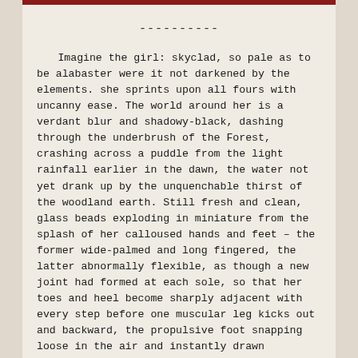----------
Imagine the girl: skyclad, so pale as to be alabaster were it not darkened by the elements. she sprints upon all fours with uncanny ease. The world around her is a verdant blur and shadowy-black, dashing through the underbrush of the Forest, crashing across a puddle from the light rainfall earlier in the dawn, the water not yet drank up by the unquenchable thirst of the woodland earth. Still fresh and clean, glass beads exploding in miniature from the splash of her calloused hands and feet – the former wide-palmed and long fingered, the latter abnormally flexible, as though a new joint had formed at each sole, so that her toes and heel become sharply adjacent with every step before one muscular leg kicks out and backward, the propulsive foot snapping loose in the air and instantly drawn forward, exchanging the exact motion with the other limbe.
Flora snaps in her wake, the stems of flowers and spidery ferns lashing bare white flesh with bands of